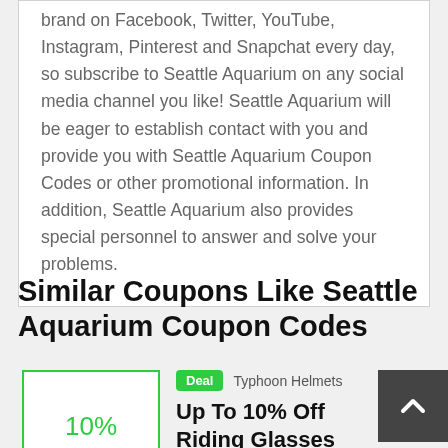brand on Facebook, Twitter, YouTube, Instagram, Pinterest and Snapchat every day, so subscribe to Seattle Aquarium on any social media channel you like! Seattle Aquarium will be eager to establish contact with you and provide you with Seattle Aquarium Coupon Codes or other promotional information. In addition, Seattle Aquarium also provides special personnel to answer and solve your problems.
Similar Coupons Like Seattle Aquarium Coupon Codes
Deal  Typhoon Helmets
Up To 10% Off Riding Glasses
VALID UNTIL 1-11-22